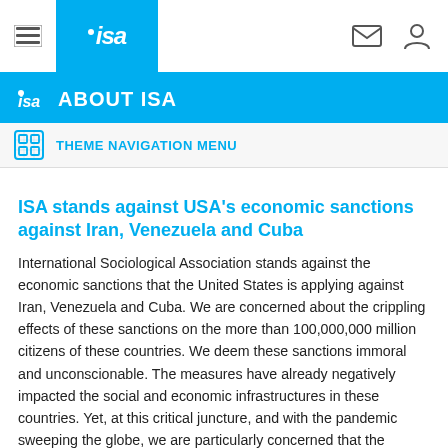ISA - About ISA
ABOUT ISA
THEME NAVIGATION MENU
ISA stands against USA's economic sanctions against Iran, Venezuela and Cuba
International Sociological Association stands against the economic sanctions that the United States is applying against Iran, Venezuela and Cuba. We are concerned about the crippling effects of these sanctions on the more than 100,000,000 million citizens of these countries. We deem these sanctions immoral and unconscionable. The measures have already negatively impacted the social and economic infrastructures in these countries. Yet, at this critical juncture, and with the pandemic sweeping the globe, we are particularly concerned that the sanctions will further curb the governments' ability to respond to and combat it.